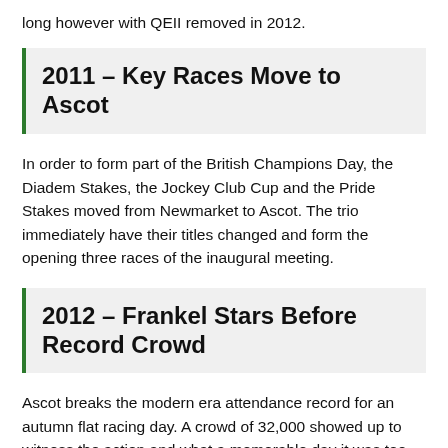long however with QEII removed in 2012.
2011 – Key Races Move to Ascot
In order to form part of the British Champions Day, the Diadem Stakes, the Jockey Club Cup and the Pride Stakes moved from Newmarket to Ascot. The trio immediately have their titles changed and form the opening three races of the inaugural meeting.
2012 – Frankel Stars Before Record Crowd
Ascot breaks the modern era attendance record for an autumn flat racing day. A crowd of 32,000 showed up to witness the action and what a memorable day it was too. Frankel, who had won the Queen Elizabeth II Stakes a year